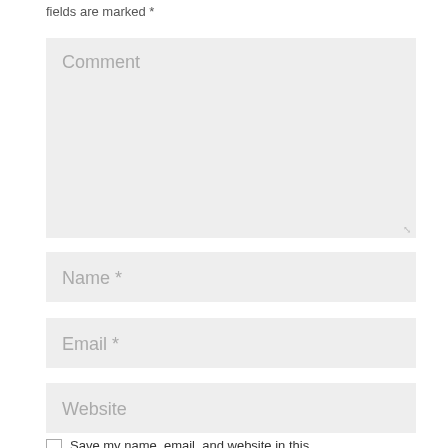fields are marked *
[Figure (screenshot): Comment text area input field with placeholder text 'Comment' and resize handle]
[Figure (screenshot): Name input field with placeholder text 'Name *']
[Figure (screenshot): Email input field with placeholder text 'Email *']
[Figure (screenshot): Website input field with placeholder text 'Website']
Save my name, email, and website in this browser for the next time I comment.